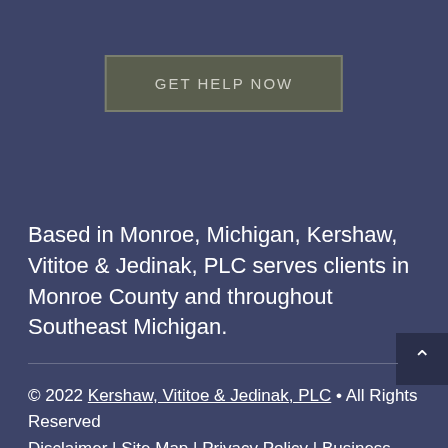[Figure (other): GET HELP NOW button with dark olive/khaki background and border]
Based in Monroe, Michigan, Kershaw, Vititoe & Jedinak, PLC serves clients in Monroe County and throughout Southeast Michigan.
© 2022 Kershaw, Vititoe & Jedinak, PLC • All Rights Reserved
Disclaimer | Site Map | Privacy Policy | Business Development Solutions by FindLaw, part of Thomson